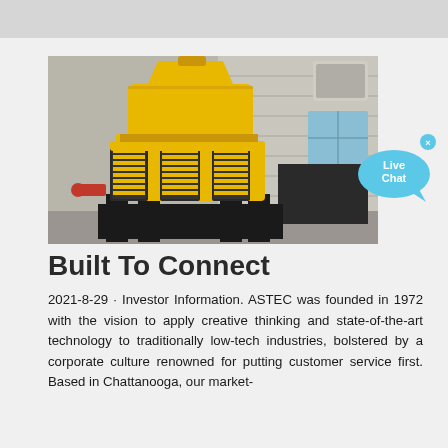[Figure (photo): Large yellow industrial cone crusher machine with black spring assemblies, mounted on a black metal frame, photographed outdoors against a concrete block wall building. A red valve is visible on the lower left.]
Built To Connect
2021-8-29 · Investor Information. ASTEC was founded in 1972 with the vision to apply creative thinking and state-of-the-art technology to traditionally low-tech industries, bolstered by a corporate culture renowned for putting customer service first. Based in Chattanooga, our market-